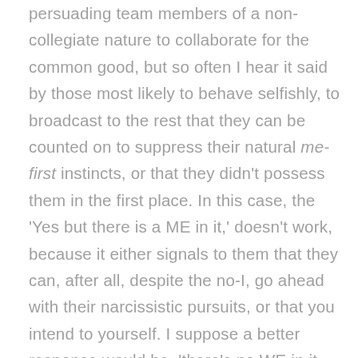persuading team members of a non-collegiate nature to collaborate for the common good, but so often I hear it said by those most likely to behave selfishly, to broadcast to the rest that they can be counted on to suppress their natural me-first instincts, or that they didn't possess them in the first place. In this case, the 'Yes but there is a ME in it,' doesn't work, because it either signals to them that they can, after all, despite the no-I, go ahead with their narcissistic pursuits, or that you intend to yourself. I suppose a better response would be, 'there's no WE in it either but …,' or, 'and it is an anagram of MATE, mate,' depending on what point you're trying to make. Neither are appropriate for the circumstances I faced this morning, where I needed to summon up a pithy response to articulate, 'I am not the one who refuses to work to